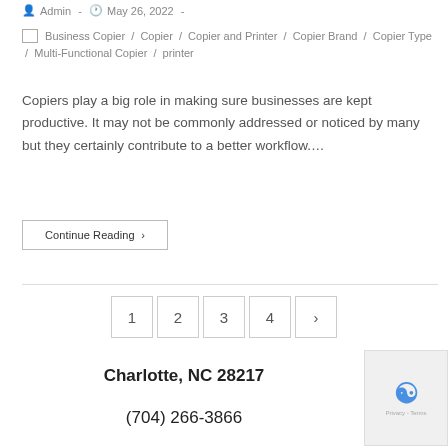Admin - May 26, 2022 -
Business Copier / Copier / Copier and Printer / Copier Brand / Copier Type / Multi-Functional Copier / printer
Copiers play a big role in making sure businesses are kept productive. It may not be commonly addressed or noticed by many but they certainly contribute to a better workflow....
Continue Reading ›
1  2  3  4  ›
Charlotte, NC 28217
(704) 266-3866